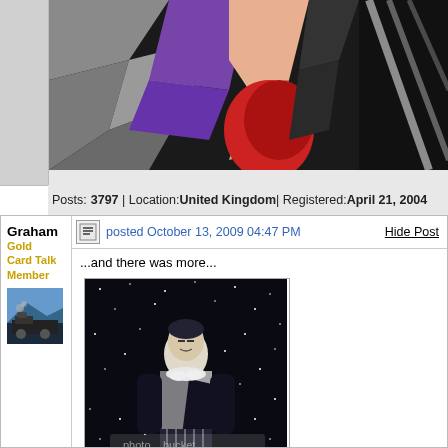[Figure (illustration): Close-up comic book art with purple, red, and black colors showing stylized hero figures]
Posts: 3797 | Location: United Kingdom | Registered: April 21, 2004
Graham
Gold Card Talk Member
[Figure (photo): Avatar image of a train locomotive]
posted October 13, 2009 04:47 PM
Hide Post
...and there was more...
[Figure (illustration): Sketch card art of a dark-costumed superhero figure against a starry space background, with Photobucket watermark]